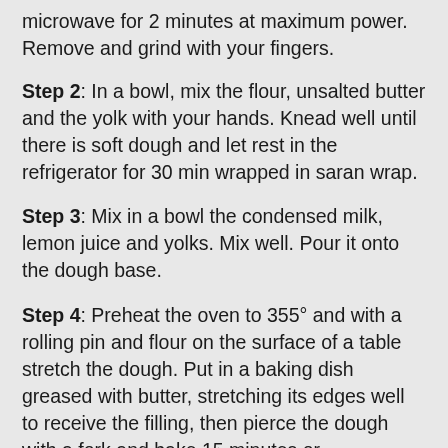microwave for 2 minutes at maximum power. Remove and grind with your fingers.
Step 2: In a bowl, mix the flour, unsalted butter and the yolk with your hands. Knead well until there is soft dough and let rest in the refrigerator for 30 min wrapped in saran wrap.
Step 3: Mix in a bowl the condensed milk, lemon juice and yolks. Mix well. Pour it onto the dough base.
Step 4: Preheat the oven to 355° and with a rolling pin and flour on the surface of a table stretch the dough. Put in a baking dish greased with butter, stretching its edges well to receive the filling, then pierce the dough with a fork and bake 15 minutes or